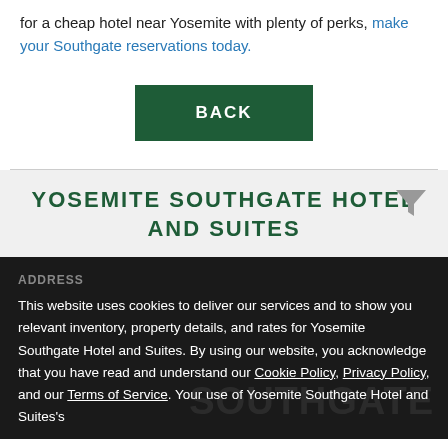for a cheap hotel near Yosemite with plenty of perks, make your Southgate reservations today.
[Figure (other): Green BACK button]
[Figure (other): Gray funnel/filter icon in top right of hotel section]
YOSEMITE SOUTHGATE HOTEL AND SUITES
This website uses cookies to deliver our services and to show you relevant inventory, property details, and rates for Yosemite Southgate Hotel and Suites. By using our website, you acknowledge that you have read and understand our Cookie Policy, Privacy Policy, and our Terms of Service. Your use of Yosemite Southgate Hotel and Suites's